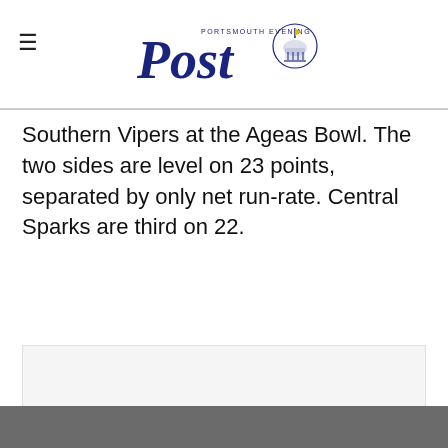Portsmouth Evening Post
Southern Vipers at the Ageas Bowl. The two sides are level on 23 points, separated by only net run-rate. Central Sparks are third on 22.
[Figure (other): Advertisement block (light grey background)]